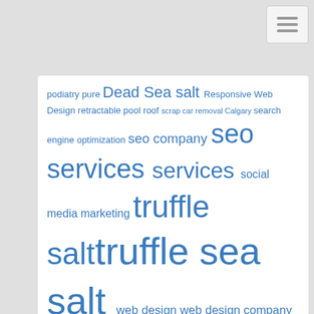[Figure (other): Hamburger menu button icon in top right corner]
podiatry pure Dead Sea salt Responsive Web Design retractable pool roof scrap car removal Calgary search engine optimization seo company seo services services social media marketing truffle salt truffle sea salt web design web design company web design services Website Designer Near Me
[Figure (other): Social media icons: Facebook (blue circle with f), Google+ (red circle with g+), Twitter (light blue circle with bird), Add/Plus (dark blue circle with +)]
Author Bio
Hi I am Logan Mullen a business analyst and part time blogger. I am crazy about gathering latest information around the world. I have started this blog to share my knowledge & experience...